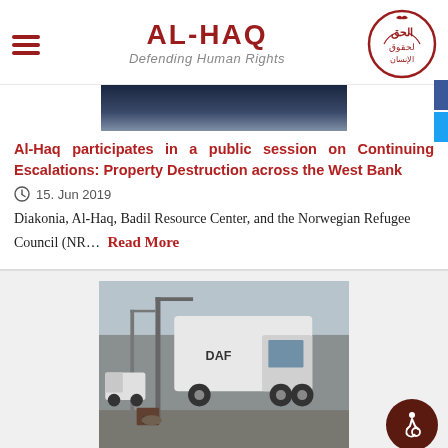AL-HAQ — Defending Human Rights
[Figure (logo): Al-Haq circular Arabic calligraphy logo in red outline]
[Figure (photo): Dark blue/grey image strip — partial event/conference photo]
Al-Haq participates in a public session on Continuing Escalations: Property Destruction across the West Bank
15. Jun 2019
Diakonia, Al-Haq, Badil Resource Center, and the Norwegian Refugee Council (NR...
Read More
[Figure (photo): Street scene with a large white DAF truck, street poles, parked vehicles, and debris on the ground]